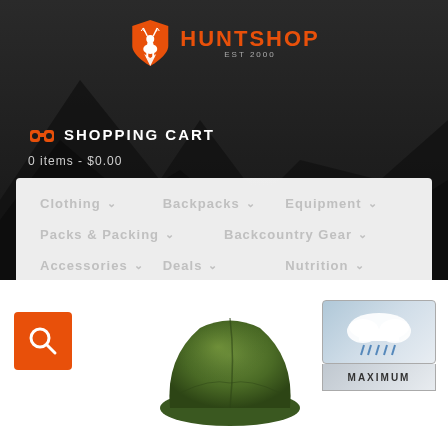[Figure (logo): HuntShop logo with orange shield containing white deer silhouette, orange HUNTSHOP text, est 2000]
SHOPPING CART
0 items - $0.00
[Figure (screenshot): Navigation dropdown menu with items: Clothing, Backpacks, Equipment, Packs & Packing, Backcountry Gear, Accessories, Deals, Nutrition]
[Figure (photo): Green fleece beanie hat product photo]
[Figure (illustration): Weather rating badge showing rain cloud icon and MAXIMUM text]